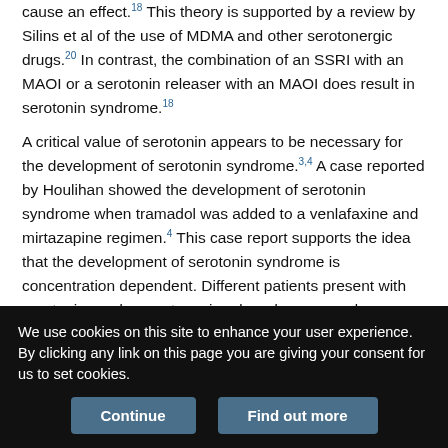cause an effect.18 This theory is supported by a review by Silins et al of the use of MDMA and other serotonergic drugs.20 In contrast, the combination of an SSRI with an MAOI or a serotonin releaser with an MAOI does result in serotonin syndrome.18
A critical value of serotonin appears to be necessary for the development of serotonin syndrome.3,4 A case reported by Houlihan showed the development of serotonin syndrome when tramadol was added to a venlafaxine and mirtazapine regimen.4 This case report supports the idea that the development of serotonin syndrome is concentration dependent. Different patients present with serotonin syndrome at varying drug dosages and combinations, suggesting that the critical value is likely different for each individual and that
We use cookies on this site to enhance your user experience. By clicking any link on this page you are giving your consent for us to set cookies.